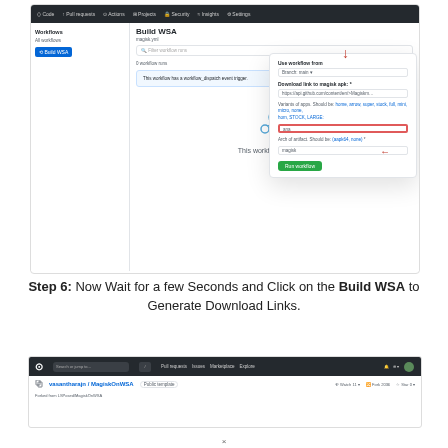[Figure (screenshot): GitHub Actions page showing 'Build WSA' workflow with a dropdown overlay for running the workflow manually. A red arrow points to the 'Run workflow' button in the top nav, and another red arrow points to the green 'Run workflow' button inside the dropdown. The dropdown shows fields for branch, download link, variants of apps, and arch/artifact settings.]
Step 6: Now Wait for a few Seconds and Click on the Build WSA to Generate Download Links.
[Figure (screenshot): GitHub repository page for vasantharajn/MagiskOnWSA showing the top navigation bar with the GitHub logo, search box, Pull requests, Issues, Marketplace, Explore links, and repository details including Watch, Fork, Star counts. The repository is tagged as Public template.]